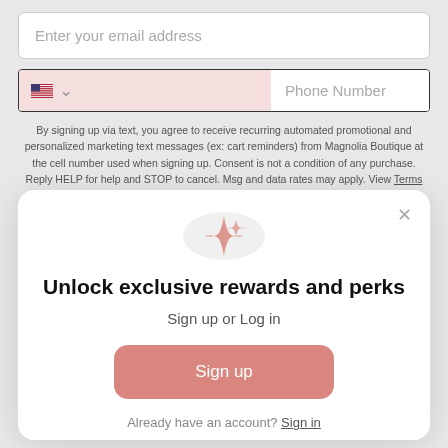Enter your email address
Phone Number
By signing up via text, you agree to receive recurring automated promotional and personalized marketing text messages (ex: cart reminders) from Magnolia Boutique at the cell number used when signing up. Consent is not a condition of any purchase. Reply HELP for help and STOP to cancel. Msg and data rates may apply. View Terms & Privacy.
[Figure (illustration): Four-pointed sparkle / star icon in pink color inside a light gray circle]
Unlock exclusive rewards and perks
Sign up or Log in
Sign up
Already have an account? Sign in